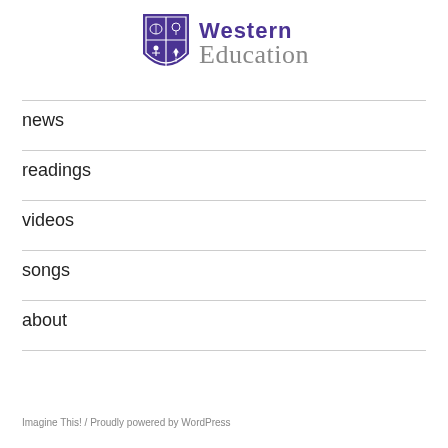[Figure (logo): Western University crest shield logo in purple alongside 'Western Education' text — 'Western' in bold purple, 'Education' in gray serif font]
news
readings
videos
songs
about
Imagine This!  /  Proudly powered by WordPress